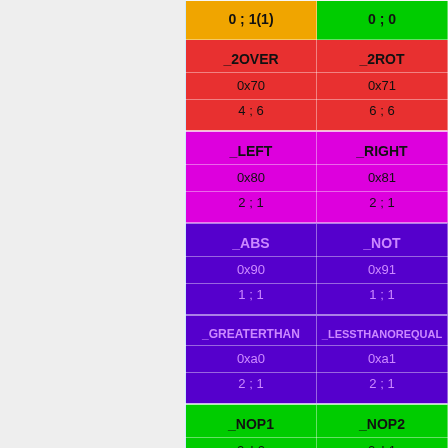| Col1 | Col2 |
| --- | --- |
| 0 ; 1(1) | 0 ; 0 |
| _2OVER | _2ROT |
| 0x70 | 0x71 |
| 4 ; 6 | 6 ; 6 |
| _LEFT | _RIGHT |
| 0x80 | 0x81 |
| 2 ; 1 | 2 ; 1 |
| _ABS | _NOT |
| 0x90 | 0x91 |
| 1 ; 1 | 1 ; 1 |
| _GREATERTHAN | _LESSTHANOREQUAL |
| 0xa0 | 0xa1 |
| 2 ; 1 | 2 ; 1 |
| _NOP1 | _NOP2 |
| 0xb0 | 0xb1 |